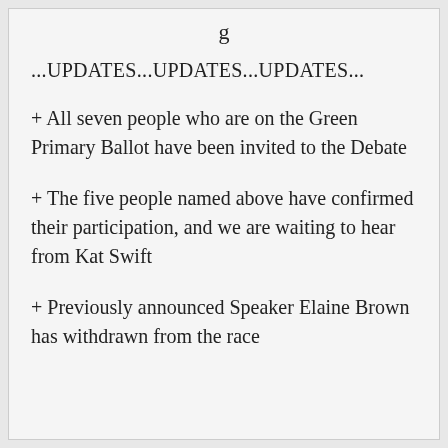g
...UPDATES...UPDATES...UPDATES...
+ All seven people who are on the Green Primary Ballot have been invited to the Debate
+ The five people named above have confirmed their participation, and we are waiting to hear from Kat Swift
+ Previously announced Speaker Elaine Brown has withdrawn from the race